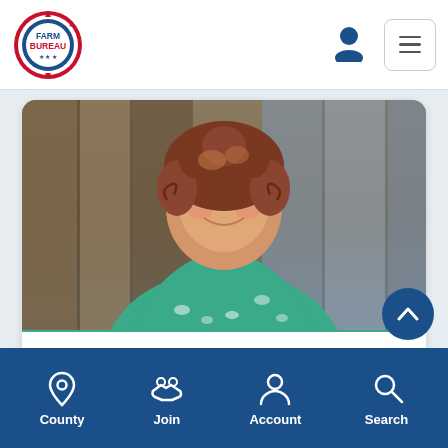[Figure (logo): Farm Bureau circular badge logo in red, white, and blue]
[Figure (photo): Portrait photo of a woman with curly reddish-brown hair, smiling, wearing a teal/green floral top, standing in front of wooden panel background]
Kearns named district administrator for
[Figure (infographic): Bottom navigation bar with County (location pin icon), Join (handshake icon), Account (person icon), Search (magnifying glass icon)]